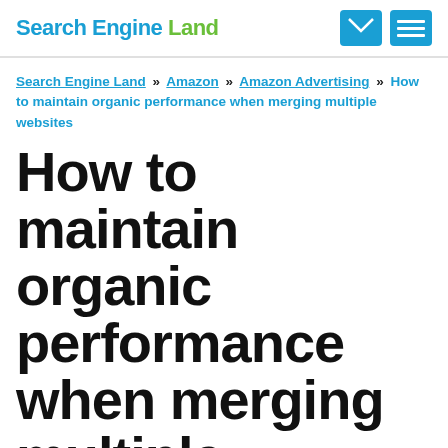Search Engine Land [logo] [email icon] [menu icon]
Search Engine Land » Amazon » Amazon Advertising » How to maintain organic performance when merging multiple websites
How to maintain organic performance when merging multiple websites
Migrations and mergers can be unpredictable. Here's how to identify and